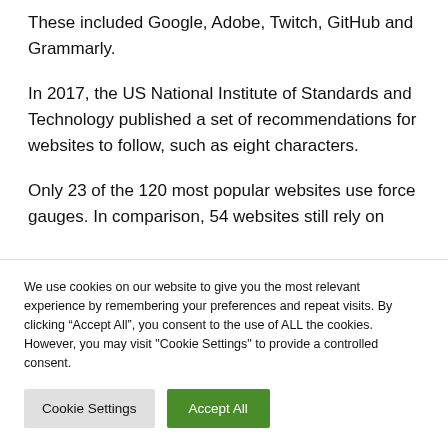These included Google, Adobe, Twitch, GitHub and Grammarly.
In 2017, the US National Institute of Standards and Technology published a set of recommendations for websites to follow, such as eight characters.
Only 23 of the 120 most popular websites use force gauges. In comparison, 54 websites still rely on
We use cookies on our website to give you the most relevant experience by remembering your preferences and repeat visits. By clicking “Accept All”, you consent to the use of ALL the cookies. However, you may visit "Cookie Settings" to provide a controlled consent.